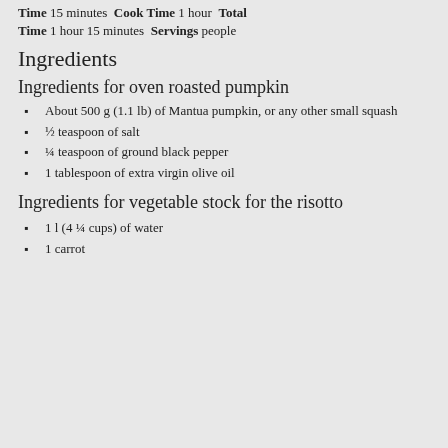Time 15 minutes Cook Time 1 hour Total Time 1 hour 15 minutes Servings people
Ingredients
Ingredients for oven roasted pumpkin
About 500 g (1.1 lb) of Mantua pumpkin, or any other small squash
½ teaspoon of salt
¼ teaspoon of ground black pepper
1 tablespoon of extra virgin olive oil
Ingredients for vegetable stock for the risotto
1 l (4 ¼ cups) of water
1 carrot